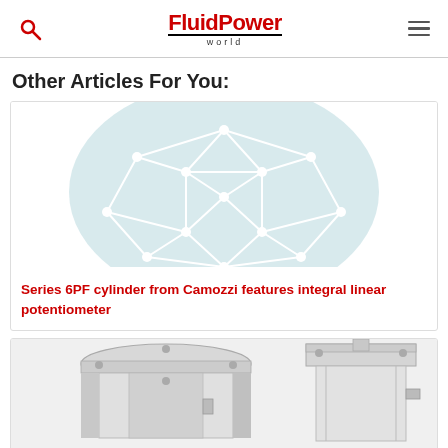FluidPower world
Other Articles For You:
[Figure (illustration): Article card with a light blue circular background containing a white geometric network/mesh polyhedron illustration]
Series 6PF cylinder from Camozzi features integral linear potentiometer
[Figure (photo): Two pneumatic cylinders shown side by side — a round flanged cylinder on the left and a square-bodied cylinder on the right, both metallic/silver]